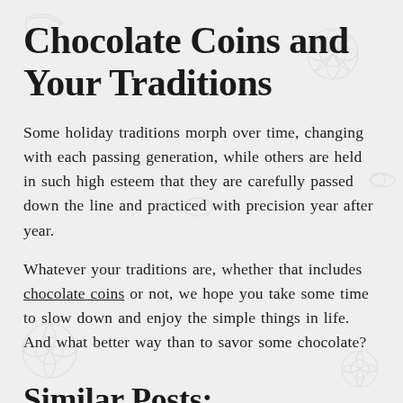Chocolate Coins and Your Traditions
Some holiday traditions morph over time, changing with each passing generation, while others are held in such high esteem that they are carefully passed down the line and practiced with precision year after year.
Whatever your traditions are, whether that includes chocolate coins or not, we hope you take some time to slow down and enjoy the simple things in life. And what better way than to savor some chocolate?
Similar Posts: